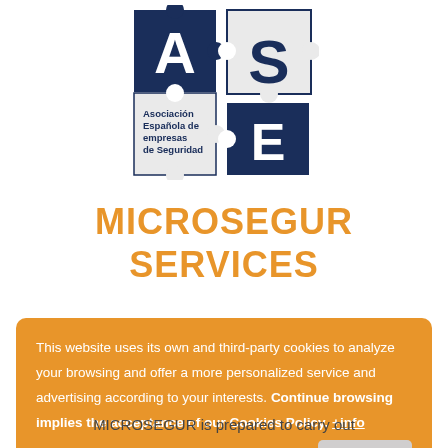[Figure (logo): AES - Asociación Española de empresas de Seguridad logo, puzzle piece design with letters A, E, S]
MICROSEGUR SERVICES
This website uses its own and third-party cookies to analyze your browsing and offer a more personalized service and advertising according to your interests. Continue browsing implies the acceptance of our Cookies Policy. +info
MICROSEGUR is prepared to carry out